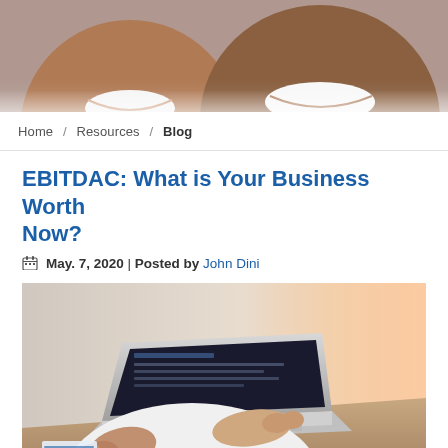[Figure (photo): Close-up of two people smiling, header photo for a blog/website]
Home / Resources / Blog
EBITDAC: What is Your Business Worth Now?
May. 7, 2020 | Posted by John Dini
[Figure (photo): Person in white shirt typing on a laptop, with financial charts visible on the desk]